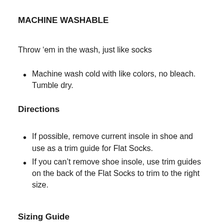MACHINE WASHABLE
Throw ‘em in the wash, just like socks
Machine wash cold with like colors, no bleach. Tumble dry.
Directions
If possible, remove current insole in shoe and use as a trim guide for Flat Socks.
If you can’t remove shoe insole, use trim guides on the back of the Flat Socks to trim to the right size.
Sizing Guide